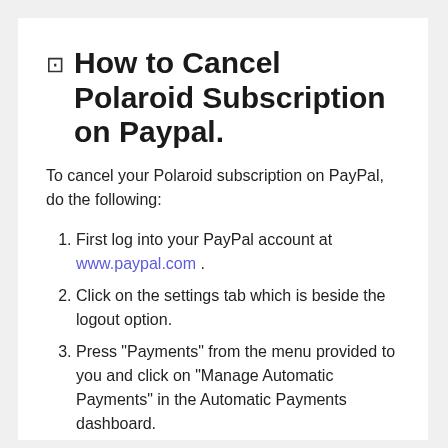🖥 How to Cancel Polaroid Subscription on Paypal.
To cancel your Polaroid subscription on PayPal, do the following:
First log into your PayPal account at www.paypal.com .
Click on the settings tab which is beside the logout option.
Press "Payments" from the menu provided to you and click on "Manage Automatic Payments" in the Automatic Payments dashboard.
You'll be shown a series of merchants' agreement you've transacted before. Click on